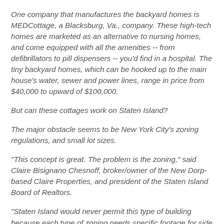One company that manufactures the backyard homes is MEDCottage, a Blacksburg, Va., company. These high-tech homes are marketed as an alternative to nursing homes, and come equipped with all the amenities -- from defibrillators to pill dispensers -- you'd find in a hospital. The tiny backyard homes, which can be hooked up to the main house's water, sewer and power lines, range in price from $40,000 to upward of $100,000.
But can these cottages work on Staten Island?
The major obstacle seems to be New York City's zoning regulations, and small lot sizes.
"This concept is great. The problem is the zoning," said Claire Bisignano Chesnoff, broker/owner of the New Dorp-based Claire Properties, and president of the Staten Island Board of Realtors.
"Staten Island would never permit this type of building because each type of zoning needs specific footage for side